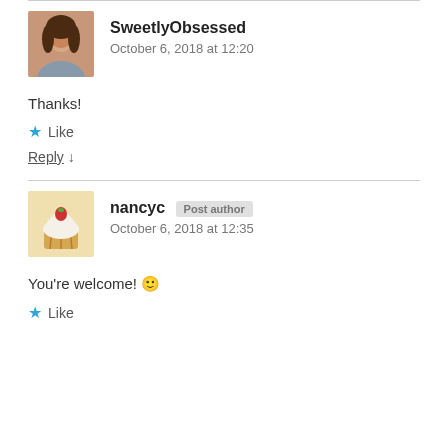SweetlyObsessed
October 6, 2018 at 12:20
Thanks!
Like
Reply ↓
nancyc [Post author]
October 6, 2018 at 12:35
You're welcome! 🙂
Like